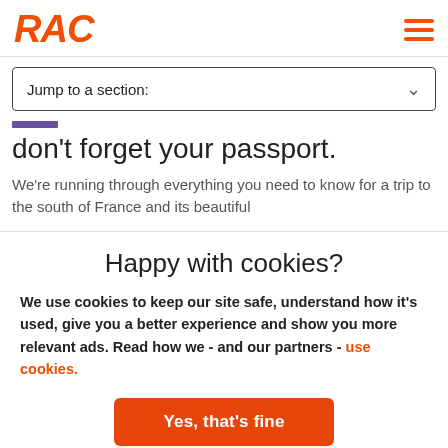RAC
Jump to a section:
don't forget your passport.
We're running through everything you need to know for a trip to the south of France and its beautiful
Happy with cookies?
We use cookies to keep our site safe, understand how it's used, give you a better experience and show you more relevant ads. Read how we - and our partners - use cookies.
Yes, that's fine
No, manage cookies